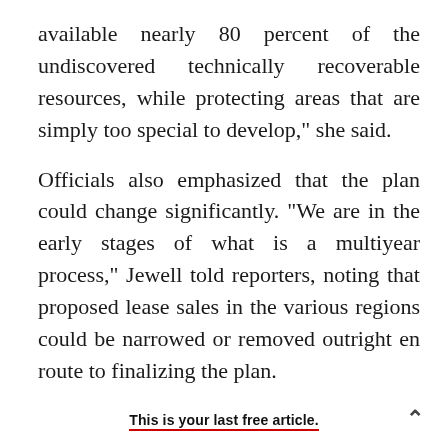available nearly 80 percent of the undiscovered technically recoverable resources, while protecting areas that are simply too special to develop," she said.
Officials also emphasized that the plan could change significantly. "We are in the early stages of what is a multiyear process," Jewell told reporters, noting that proposed lease sales in the various regions could be narrowed or removed outright en route to finalizing the plan.
Interior's proposal is facing immediate pushback
This is your last free article.